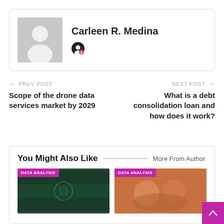[Figure (illustration): Author profile box with gray placeholder avatar image and name Carleen R. Medina with a social icon below]
Carleen R. Medina
← PREV POST
Scope of the drone data services market by 2029
NEXT POST →
What is a debt consolidation loan and how does it work?
You Might Also Like
More From Author
[Figure (photo): Thumbnail image with DATA ANALYSIS label - drone/aerial view]
[Figure (photo): Thumbnail image with DATA ANALYSIS label - group of people]